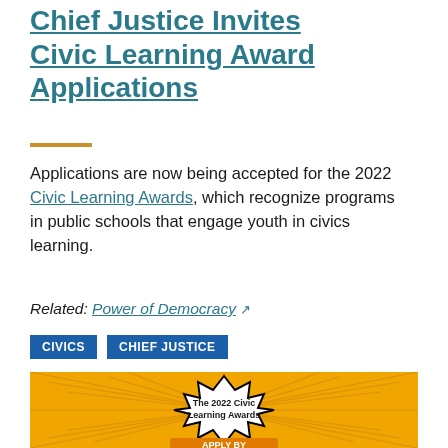Chief Justice Invites Civic Learning Award Applications
Applications are now being accepted for the 2022 Civic Learning Awards, which recognize programs in public schools that engage youth in civics learning.
Related: Power of Democracy [external link]
CIVICS
CHIEF JUSTICE
[Figure (illustration): Orange burst/explosion graphic with white speech-bubble shape in center reading 'The 2022 Civic Learning Awards' and an orange banner at the bottom partially visible reading 'APPLY BY']